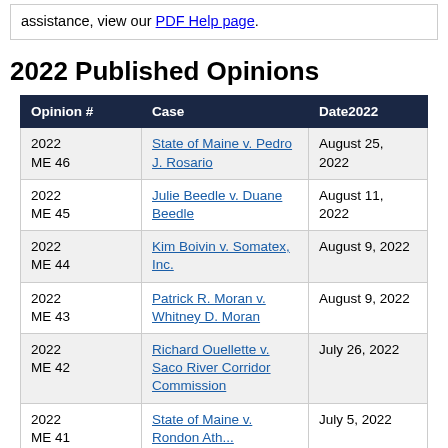assistance, view our PDF Help page.
2022 Published Opinions
| Opinion # | Case | Date2022 |
| --- | --- | --- |
| 2022 ME 46 | State of Maine v. Pedro J. Rosario | August 25, 2022 |
| 2022 ME 45 | Julie Beedle v. Duane Beedle | August 11, 2022 |
| 2022 ME 44 | Kim Boivin v. Somatex, Inc. | August 9, 2022 |
| 2022 ME 43 | Patrick R. Moran v. Whitney D. Moran | August 9, 2022 |
| 2022 ME 42 | Richard Ouellette v. Saco River Corridor Commission | July 26, 2022 |
| 2022 ME 41 | State of Maine v. Rondon Ath... | July 5, 2022 |